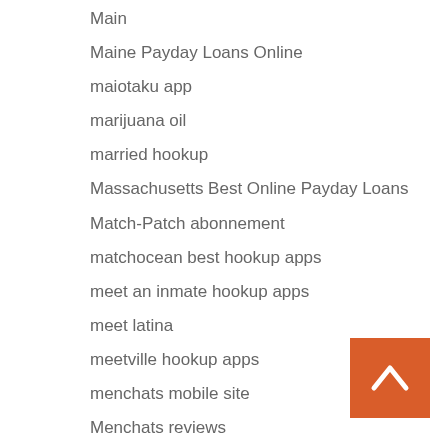Main
Maine Payday Loans Online
maiotaku app
marijuana oil
married hookup
Massachusetts Best Online Payday Loans
Match-Patch abonnement
matchocean best hookup apps
meet an inmate hookup apps
meet latina
meetville hookup apps
menchats mobile site
Menchats reviews
merkur spiele
Mexican Bride Fuck
[Figure (other): Orange back-to-top button with upward chevron arrow in bottom right corner]